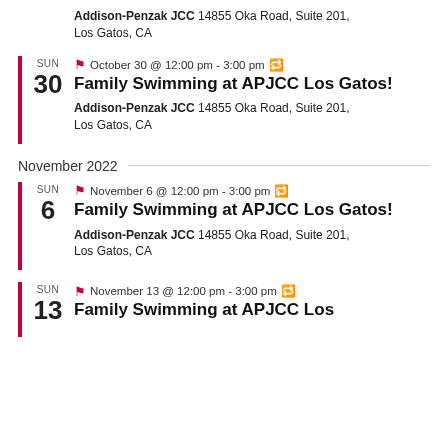Addison-Penzak JCC 14855 Oka Road, Suite 201, Los Gatos, CA
SUN 30 — October 30 @ 12:00 pm - 3:00 pm (recurring)
Family Swimming at APJCC Los Gatos!
Addison-Penzak JCC 14855 Oka Road, Suite 201, Los Gatos, CA
November 2022
SUN 6 — November 6 @ 12:00 pm - 3:00 pm (recurring)
Family Swimming at APJCC Los Gatos!
Addison-Penzak JCC 14855 Oka Road, Suite 201, Los Gatos, CA
SUN 13 — November 13 @ 12:00 pm - 3:00 pm (recurring)
Family Swimming at APJCC Los